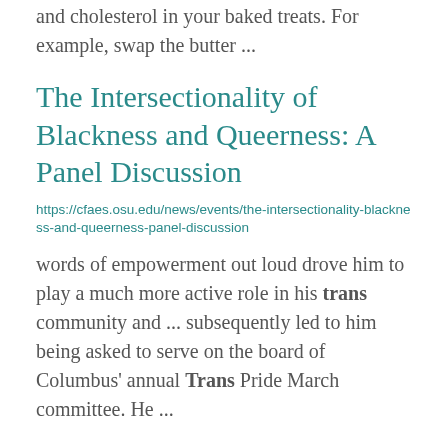and cholesterol in your baked treats. For example, swap the butter ...
The Intersectionality of Blackness and Queerness: A Panel Discussion
https://cfaes.osu.edu/news/events/the-intersectionality-blackness-and-queerness-panel-discussion
words of empowerment out loud drove him to play a much more active role in his trans community and ... subsequently led to him being asked to serve on the board of Columbus' annual Trans Pride March committee. He ...
Chow Line: Limit trans fats, boost